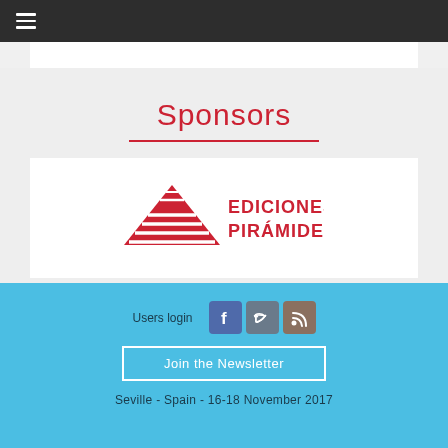[Figure (screenshot): Dark navigation bar with hamburger menu icon (three horizontal lines) at top left]
Sponsors
[Figure (logo): Ediciones Pirámide publisher logo: red pyramid/triangle shape on left with horizontal lines, red text reading EDICIONES PIRÁMIDE on right]
Users login
[Figure (infographic): Social media icons: Facebook (blue), Twitter (grey), RSS feed (grey-brown)]
Join the Newsletter
Seville - Spain - 16-18 November 2017